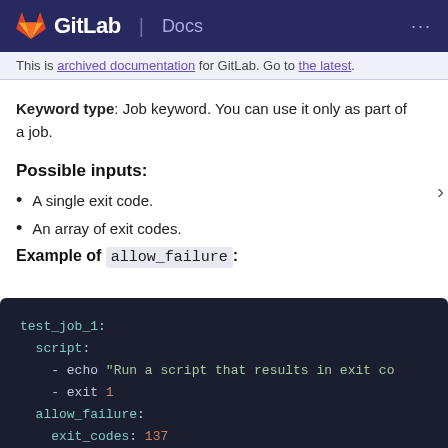GitLab Docs
This is archived documentation for GitLab. Go to the latest.
Keyword type: Job keyword. You can use it only as part of a job.
Possible inputs:
A single exit code.
An array of exit codes.
Example of allow_failure:
[Figure (screenshot): Code block showing a GitLab CI YAML example with test_job_1, script with echo and exit 1, allow_failure with exit_codes: 137]